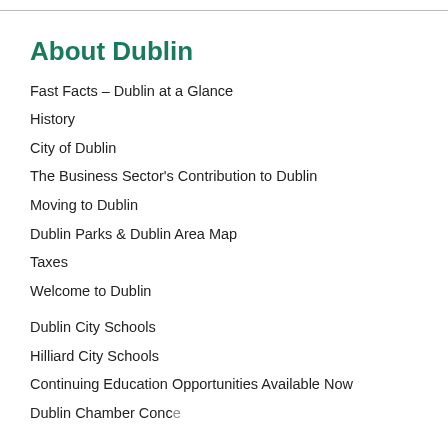About Dublin
Fast Facts – Dublin at a Glance
History
City of Dublin
The Business Sector's Contribution to Dublin
Moving to Dublin
Dublin Parks & Dublin Area Map
Taxes
Welcome to Dublin
Dublin City Schools
Hilliard City Schools
Continuing Education Opportunities Available Now
Dublin Chamber Conce